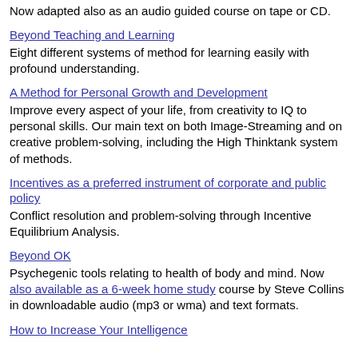Now adapted also as an audio guided course on tape or CD.
Beyond Teaching and Learning
Eight different systems of method for learning easily with profound understanding.
A Method for Personal Growth and Development
Improve every aspect of your life, from creativity to IQ to personal skills. Our main text on both Image-Streaming and on creative problem-solving, including the High Thinktank system of methods.
Incentives as a preferred instrument of corporate and public policy
Conflict resolution and problem-solving through Incentive Equilibrium Analysis.
Beyond OK
Psychegenic tools relating to health of body and mind. Now also available as a 6-week home study course by Steve Collins in downloadable audio (mp3 or wma) and text formats.
How to Increase Your Intelligence